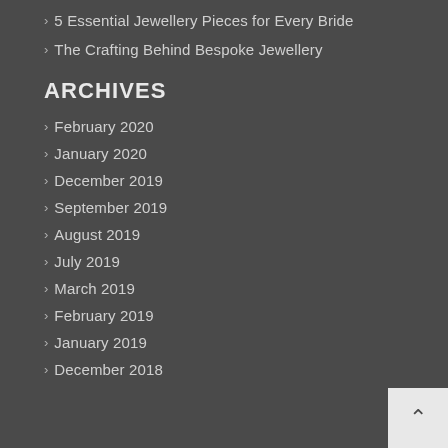5 Essential Jewellery Pieces for Every Bride
The Crafting Behind Bespoke Jewellery
ARCHIVES
February 2020
January 2020
December 2019
September 2019
August 2019
July 2019
March 2019
February 2019
January 2019
December 2018